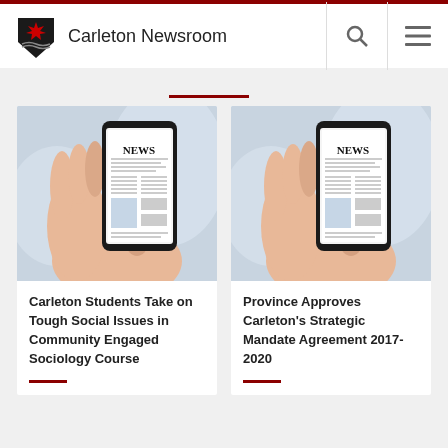Carleton Newsroom
[Figure (screenshot): Carleton Newsroom website screenshot showing two news article cards with images of hands holding smartphones displaying NEWS]
Carleton Students Take on Tough Social Issues in Community Engaged Sociology Course
Province Approves Carleton’s Strategic Mandate Agreement 2017-2020